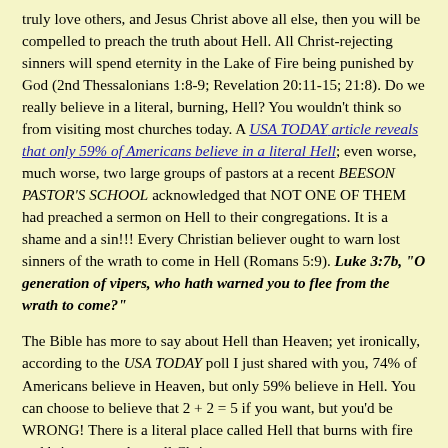truly love others, and Jesus Christ above all else, then you will be compelled to preach the truth about Hell. All Christ-rejecting sinners will spend eternity in the Lake of Fire being punished by God (2nd Thessalonians 1:8-9; Revelation 20:11-15; 21:8). Do we really believe in a literal, burning, Hell? You wouldn't think so from visiting most churches today. A USA TODAY article reveals that only 59% of Americans believe in a literal Hell; even worse, much worse, two large groups of pastors at a recent BEESON PASTOR'S SCHOOL acknowledged that NOT ONE OF THEM had preached a sermon on Hell to their congregations. It is a shame and a sin!!! Every Christian believer ought to warn lost sinners of the wrath to come in Hell (Romans 5:9). Luke 3:7b, "O generation of vipers, who hath warned you to flee from the wrath to come?"
The Bible has more to say about Hell than Heaven; yet ironically, according to the USA TODAY poll I just shared with you, 74% of Americans believe in Heaven, but only 59% believe in Hell. You can choose to believe that 2 + 2 = 5 if you want, but you'd be WRONG! There is a literal place called Hell that burns with fire and brimstone, where all Christ-